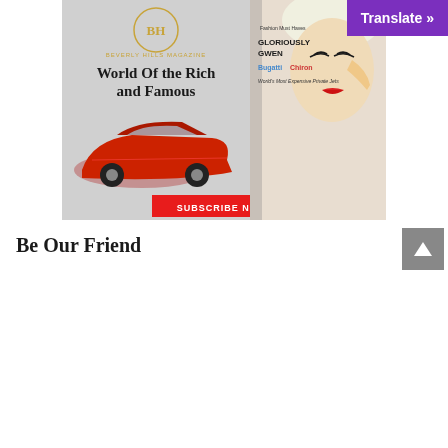[Figure (illustration): Beverly Hills Magazine advertisement showing 'World Of the Rich and Famous' with a red Ferrari sports car, a magazine cover featuring a blonde woman (Gwen Stefani) with text 'GLORIOUSLY GWEN', 'Bugatti Chiron', 'World's Most Expensive Private Jets', and a red 'SUBSCRIBE NOW' button. The BH logo appears at top.]
[Figure (other): Purple 'Translate »' button in top right corner]
[Figure (other): Gray back-to-top arrow button in right side]
Be Our Friend